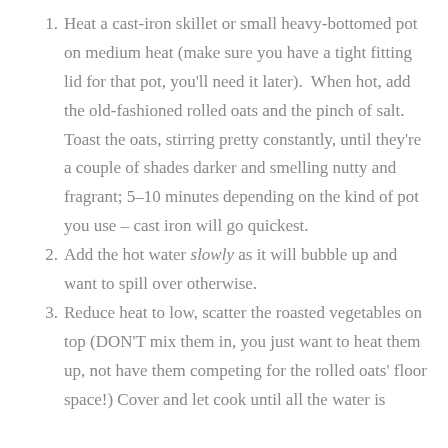Heat a cast-iron skillet or small heavy-bottomed pot on medium heat (make sure you have a tight fitting lid for that pot, you'll need it later). When hot, add the old-fashioned rolled oats and the pinch of salt. Toast the oats, stirring pretty constantly, until they're a couple of shades darker and smelling nutty and fragrant; 5–10 minutes depending on the kind of pot you use – cast iron will go quickest.
Add the hot water slowly as it will bubble up and want to spill over otherwise.
Reduce heat to low, scatter the roasted vegetables on top (DON'T mix them in, you just want to heat them up, not have them competing for the rolled oats' floor space!) Cover and let cook until all the water is